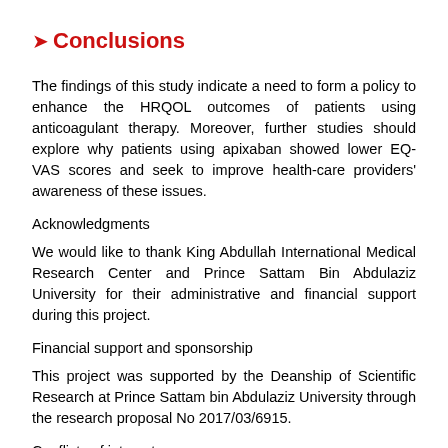Conclusions
The findings of this study indicate a need to form a policy to enhance the HRQOL outcomes of patients using anticoagulant therapy. Moreover, further studies should explore why patients using apixaban showed lower EQ-VAS scores and seek to improve health-care providers' awareness of these issues.
Acknowledgments
We would like to thank King Abdullah International Medical Research Center and Prince Sattam Bin Abdulaziz University for their administrative and financial support during this project.
Financial support and sponsorship
This project was supported by the Deanship of Scientific Research at Prince Sattam bin Abdulaziz University through the research proposal No 2017/03/6915.
Conflicts of interest
There are no conflicts of interest.